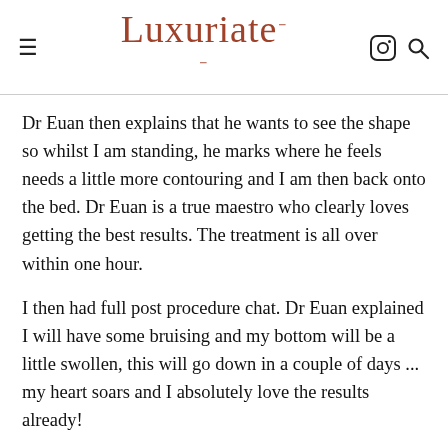Luxuriate Life
Dr Euan then explains that he wants to see the shape so whilst I am standing, he marks where he feels needs a little more contouring and I am then back onto the bed. Dr Euan is a true maestro who clearly loves getting the best results. The treatment is all over within one hour.
I then had full post procedure chat. Dr Euan explained I will have some bruising and my bottom will be a little swollen, this will go down in a couple of days ... my heart soars and I absolutely love the results already!
Within approximately 6 weeks my natural collagen will start to work with the Lanluma and will look just peachy, especially after having two kids. The most fab thing